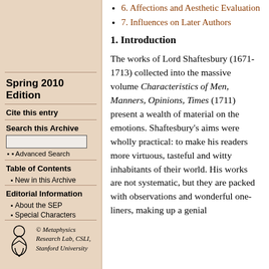6. Affections and Aesthetic Evaluation
7. Influences on Later Authors
1. Introduction
The works of Lord Shaftesbury (1671-1713) collected into the massive volume Characteristics of Men, Manners, Opinions, Times (1711) present a wealth of material on the emotions. Shaftesbury's aims were wholly practical: to make his readers more virtuous, tasteful and witty inhabitants of their world. His works are not systematic, but they are packed with observations and wonderful one-liners, making up a genial
Spring 2010 Edition
Cite this entry
Search this Archive
Table of Contents
New in this Archive
Editorial Information
About the SEP
Special Characters
[Figure (logo): Metaphysics Research Lab, CSLI, Stanford University logo — stylized figure]